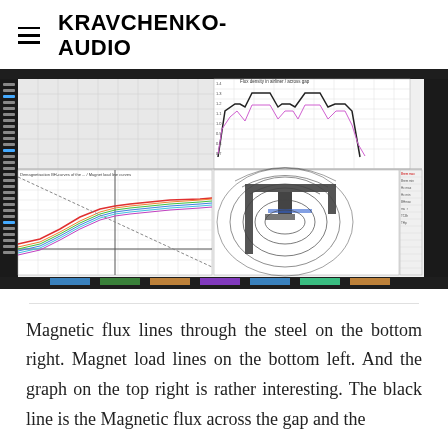KRAVCHENKO-AUDIO
[Figure (screenshot): Screenshot of magnetic simulation software showing multiple panels: top-right panel with flux density vs position graph showing a flat-topped wave with dips, bottom-left panel with magnet load lines (BH curves) showing multiple colored lines, bottom-center panel with magnetic flux line diagram showing field lines through a speaker driver cross-section, and bottom-right panel with numerical data table.]
Magnetic flux lines through the steel on the bottom right. Magnet load lines on the bottom left. And the graph on the top right is rather interesting. The black line is the Magnetic flux across the gap and the